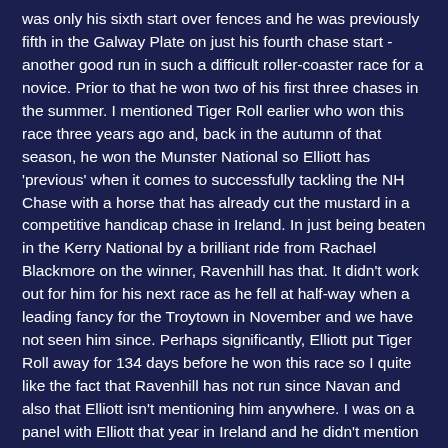was only his sixth start over fences and he was previously fifth in the Galway Plate on just his fourth chase start - another good run in such a difficult roller-coaster race for a novice. Prior to that he won two of his first three chases in the summer. I mentioned Tiger Roll earlier who won this race three years ago and, back in the autumn of that season, he won the Munster National so Elliott has 'previous' when it comes to successfully tackling the NH Chase with a horse that has already cut the mustard in a competitive handicap chase in Ireland. In just being beaten in the Kerry National by a brilliant ride from Rachael Blackmore on the winner, Ravenhill has that. It didn't work out for him for his next race as he fell at half-way when a leading fancy for the Troytown in November and we have not seen him since. Perhaps significantly, Elliott put Tiger Roll away for 134 days before he won this race so I quite like the fact that Ravenhill has not run since Navan and also that Elliott isn't mentioning him anywhere. I was on a panel with Elliott that year in Ireland and he didn't mention Tiger Roll either. I am not averse to putting up a 10yo for